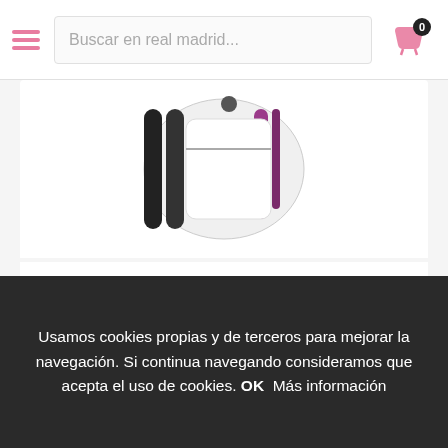Buscar en real madrid...
[Figure (photo): White and black backpack with purple stripe - Real Madrid product photo]
REAL MADRID MOCHILA ADAP CARRO 27*10*33 REF 611457524
24.81€
[Figure (infographic): Product action buttons: wishlist heart, add to basket (highlighted), and compare arrows icons]
[Figure (photo): Partial second product card with AGOTADO (sold out) red badge]
Usamos cookies propias y de terceros para mejorar la navegación. Si continua navegando consideramos que acepta el uso de cookies. OK  Más información